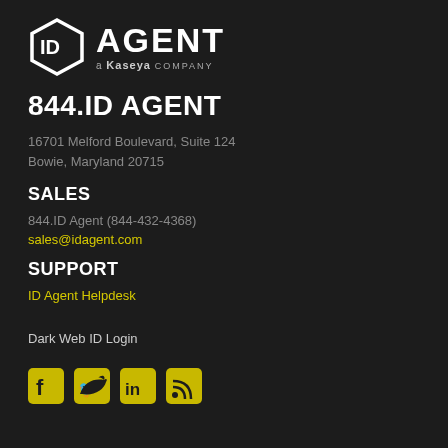[Figure (logo): ID Agent logo — hexagon shield with 'ID' text inside, followed by 'AGENT' large text, and 'a Kaseya company' subtitle]
844.ID AGENT
16701 Melford Boulevard, Suite 124
Bowie, Maryland 20715
SALES
844.ID Agent (844-432-4368)
sales@idagent.com
SUPPORT
ID Agent Helpdesk
Dark Web ID Login
[Figure (illustration): Row of four social media icons in yellow/gold: Facebook, Twitter, LinkedIn, RSS feed]